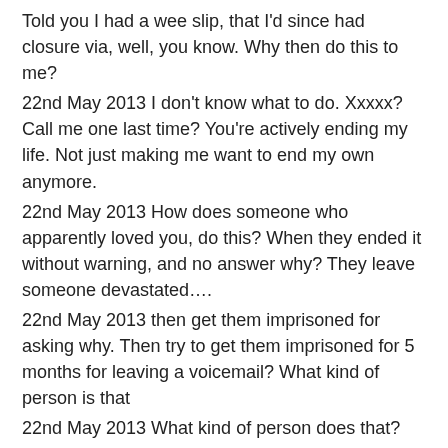Told you I had a wee slip, that I'd since had closure via, well, you know. Why then do this to me?
22nd May 2013 I don't know what to do. Xxxxx? Call me one last time? You're actively ending my life. Not just making me want to end my own anymore.
22nd May 2013 How does someone who apparently loved you, do this? When they ended it without warning, and no answer why? They leave someone devastated….
22nd May 2013 then get them imprisoned for asking why. Then try to get them imprisoned for 5 months for leaving a voicemail? What kind of person is that
22nd May 2013 What kind of person does that?
22nd May 2013 @ (friend of ex) @ (another friend of ex) @ (a third friend of ex) Xxxxx is trying to get me jailed for 5 months for leaving a voicemail saying I missed her. Have a word??
22nd May 2013 Meant to be going to police station. Not